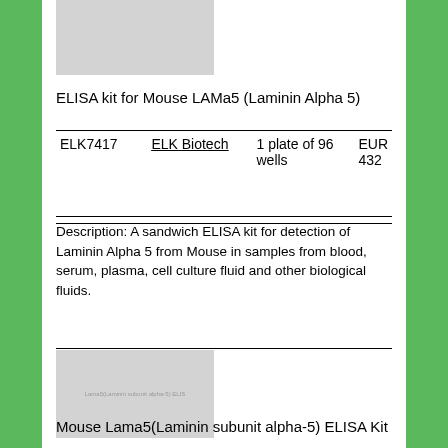[Figure (photo): Product image placeholder (gray rectangle) for ELISA kit]
ELISA kit for Mouse LAMa5 (Laminin Alpha 5)
| Catalog | Supplier | Size | Price |
| --- | --- | --- | --- |
| ELK7417 | ELK Biotech | 1 plate of 96 wells | EUR 432 |
Description: A sandwich ELISA kit for detection of Laminin Alpha 5 from Mouse in samples from blood, serum, plasma, cell culture fluid and other biological fluids.
[Figure (photo): Product image placeholder (gray rectangle) for Mouse Lama5 ELISA Kit with label text]
Mouse Lama5(Laminin subunit alpha-5) ELISA Kit